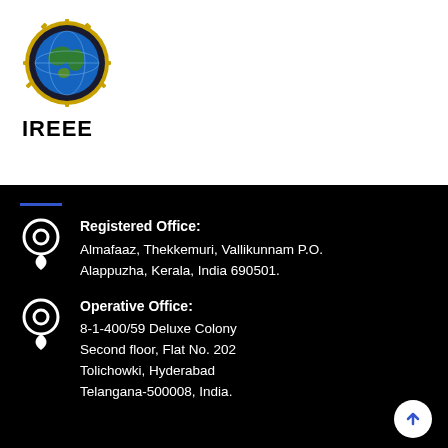[Figure (logo): IREEE circular logo with globe and gear, colorful emblem]
IREEE
Registered Office:
Almafaaz, Thekkemuri, Vallikunnam P.O.
Alappuzha, Kerala, India 690501.
Operative Office:
8-1-400/59 Deluxe Colony
Second floor, Flat No. 202
Tolichowki, Hyderabad
Telangana-500008, India.